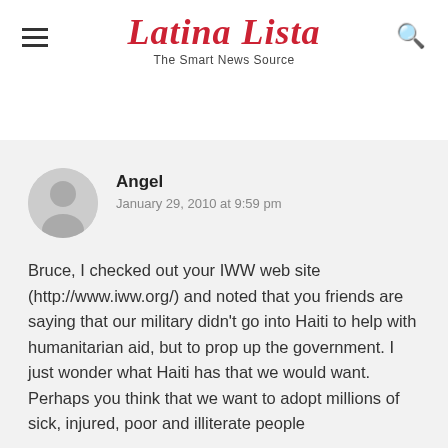Latina Lista — The Smart News Source
Angel
January 29, 2010 at 9:59 pm
Bruce, I checked out your IWW web site (http://www.iww.org/) and noted that you friends are saying that our military didn't go into Haiti to help with humanitarian aid, but to prop up the government. I just wonder what Haiti has that we would want. Perhaps you think that we want to adopt millions of sick, injured, poor and illiterate people